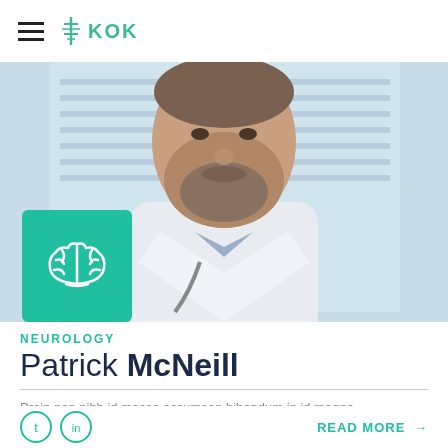KOK
[Figure (photo): Doctor in white coat with stethoscope, cropped at chest/face level, with teal brain icon box overlay in bottom left]
NEUROLOGY
Patrick McNeill
Proin non nibh id massa accumsan bibendum in id magna. Suspendisse potenti. Mauris lobortis scelerisque , eget scelerisque nulla fringilla ac.
READ MORE →